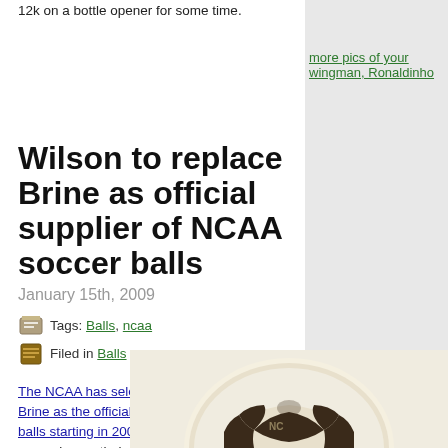12k on a bottle opener for some time.
more pics of your wingman, Ronaldinho
Wilson to replace Brine as official supplier of NCAA soccer balls
January 15th, 2009
Tags: Balls, ncaa
Filed in Balls
The NCAA has selected Wilson to replace Brine as the official supplier of NCAA soccer balls starting in 2009. Wilson is hoping to expand upon their soccer brand by partnership with the NCAA. I didn't realize that Wilson had much of a soccer presence but apparently they're match balls are used in South America and in a few state
[Figure (photo): Photo of a Wilson soccer ball, showing the top portion of a white and brown patterned soccer ball]